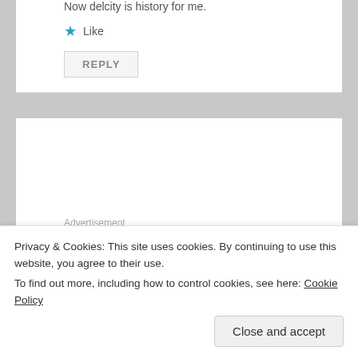Now delcity is history for me.
★ Like
REPLY
Advertisement
Health Share PORT
August 16, 2017 at 7:56 pm
Privacy & Cookies: This site uses cookies. By continuing to use this website, you agree to their use.
To find out more, including how to control cookies, see here: Cookie Policy
Close and accept